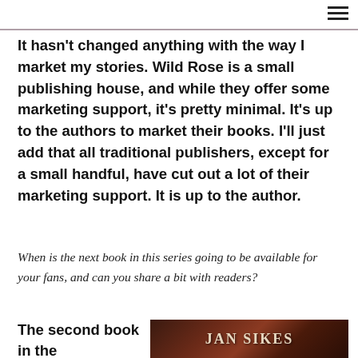It hasn't changed anything with the way I market my stories. Wild Rose is a small publishing house, and while they offer some marketing support, it's pretty minimal. It's up to the authors to market their books. I'll just add that all traditional publishers, except for a small handful, have cut out a lot of their marketing support. It is up to the author.
When is the next book in this series going to be available for your fans, and can you share a bit with readers?
The second book in the
[Figure (photo): Book cover image showing Jan Sikes author name in decorative text on a dark reddish-brown background]